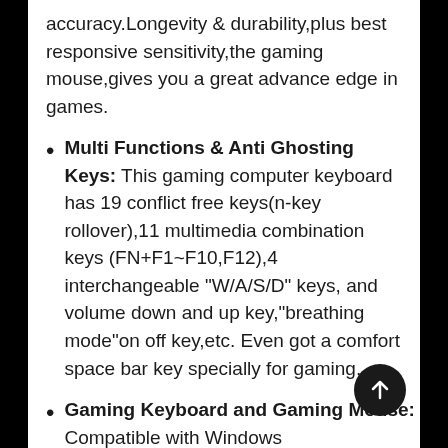accuracy.Longevity & durability,plus best responsive sensitivity,the gaming mouse,gives you a great advance edge in games.
Multi Functions & Anti Ghosting Keys: This gaming computer keyboard has 19 conflict free keys(n-key rollover),11 multimedia combination keys (FN+F1~F10,F12),4 interchangeable "W/A/S/D" keys, and volume down and up key,"breathing mode"on off key,etc. Even got a comfort space bar key specially for gaming.
Gaming Keyboard and Gaming Mouse: Compatible with Windows 2000/2003/XP/Vista/ Win7/Win8/Win10/Mac OS.Works well with all major Computer Brands PC, for all the 2020 new games and all